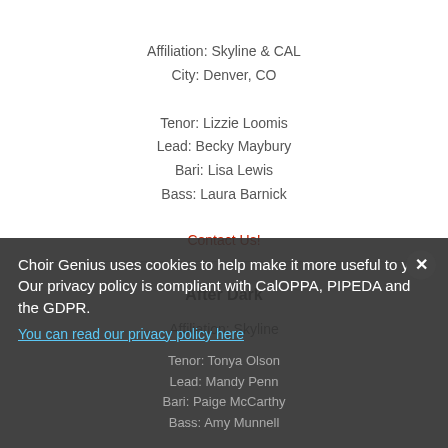Affiliation: Skyline & CAL
City: Denver, CO
Tenor: Lizzie Loomis
Lead: Becky Maybury
Bari: Lisa Lewis
Bass: Laura Barnick
Contact Us!
After Dark
Affiliation: Skyline
Tenor: Tonya Olson
Lead: Mandy Penn
Bari: Paige McCarthy
Bass: Amy Munnell
Choir Genius uses cookies to help make it more useful to you. Our privacy policy is compliant with CalOPPA, PIPEDA and the GDPR.
You can read our privacy policy here